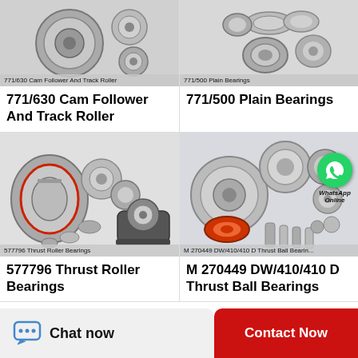[Figure (photo): Photo of 771/630 Cam Follower And Track Roller bearing, grayscale product image with label overlay]
[Figure (photo): Photo of 771/500 Plain Bearings, grayscale product image with label overlay]
771/630  Cam Follower And Track Roller
771/500  Plain Bearings
[Figure (photo): Photo of 577796 Thrust Roller Bearings, multiple bearings and pillow block, grayscale product image with label overlay]
[Figure (photo): Photo of M 270449 DW/410/410 D Thrust Ball Bearings with WhatsApp Online overlay, multiple ball bearings in color]
577796 Thrust Roller Bearings
M 270449 DW/410/410 D Thrust Ball Bearings
Chat now
Contact Now